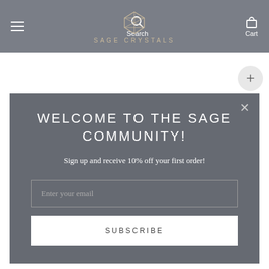SAGE CRYSTALS — Navigation bar with menu, search, logo, and cart
[Figure (screenshot): Sage Crystals website header with hamburger menu, search icon, geometric crystal logo, site name 'SAGE CRYSTALS', and cart icon]
WELCOME TO THE SAGE COMMUNITY!
Sign up and receive 10% off your first order!
Enter your email
SUBSCRIBE